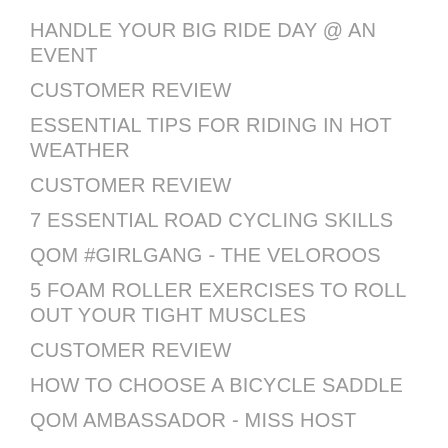HANDLE YOUR BIG RIDE DAY @ AN EVENT
CUSTOMER REVIEW
ESSENTIAL TIPS FOR RIDING IN HOT WEATHER
CUSTOMER REVIEW
7 ESSENTIAL ROAD CYCLING SKILLS
QOM #GIRLGANG - THE VELOROOS
5 FOAM ROLLER EXERCISES TO ROLL OUT YOUR TIGHT MUSCLES
CUSTOMER REVIEW
HOW TO CHOOSE A BICYCLE SADDLE
QOM AMBASSADOR - MISS HOST
A BEHIND THE SCENES LOOK FROM OUR LATEST PHOTOSHOOT
QOM AMBASSADOR - MISS SEETO
5 THINGS I WISH I'D KNOWN WHEN I STARTED